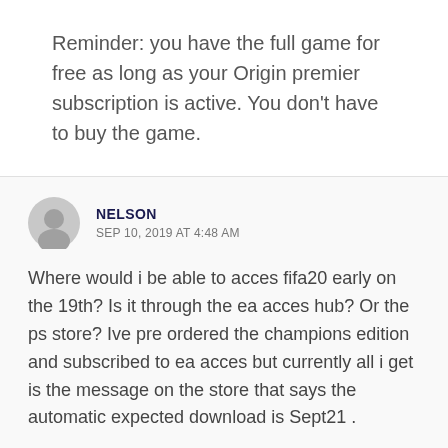Reminder: you have the full game for free as long as your Origin premier subscription is active. You don't have to buy the game.
NELSON
SEP 10, 2019 AT 4:48 AM
Where would i be able to acces fifa20 early on the 19th? Is it through the ea acces hub? Or the ps store? Ive pre ordered the champions edition and subscribed to ea acces but currently all i get is the message on the store that says the automatic expected download is Sept21 .